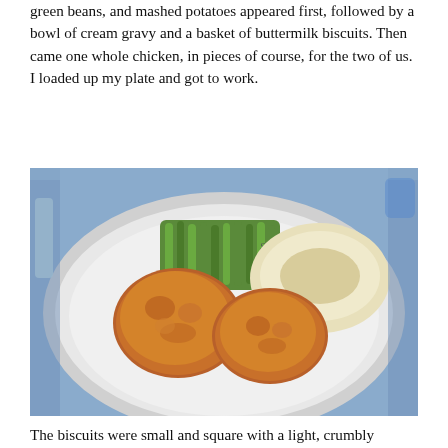green beans, and mashed potatoes appeared first, followed by a bowl of cream gravy and a basket of buttermilk biscuits. Then came one whole chicken, in pieces of course, for the two of us. I loaded up my plate and got to work.
[Figure (photo): A white plate with fried chicken pieces, green beans, and mashed potatoes with gravy on a blue textured tablecloth. A partial word 'Skillet' is visible on the plate.]
The biscuits were small and square with a light, crumbly texture. The potatoes were whipped smooth. I prefer the texture of mashed, but these potatoes had good body and potato flavor. The gravy was thick and smooth but added little flavor to the